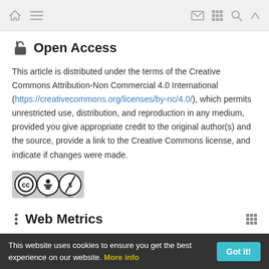Navigation bar with home, menu, mail, grid, search, and up icons
Open Access
This article is distributed under the terms of the Creative Commons Attribution-Non Commercial 4.0 International (https://creativecommons.org/licenses/by-nc/4.0/), which permits unrestricted use, distribution, and reproduction in any medium, provided you give appropriate credit to the original author(s) and the source, provide a link to the Creative Commons license, and indicate if changes were made.
[Figure (logo): Creative Commons BY-NC license badge showing CC, BY, and NC icons]
Web Metrics
This website uses cookies to ensure you get the best experience on our website. More info | Got it!